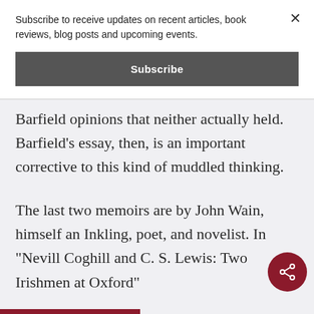Subscribe to receive updates on recent articles, book reviews, blog posts and upcoming events.
Subscribe
Barfield opinions that neither actually held. Barfield’s essay, then, is an important corrective to this kind of muddled thinking.
The last two memoirs are by John Wain, himself an Inkling, poet, and novelist. In “Nevill Coghill and C. S. Lewis: Two Irishmen at Oxford”